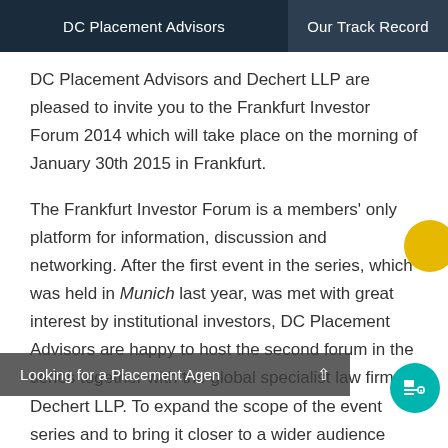DC Placement Advisors | Our Track Record
DC Placement Advisors and Dechert LLP are pleased to invite you to the Frankfurt Investor Forum 2014 which will take place on the morning of January 30th 2015 in Frankfurt.
The Frankfurt Investor Forum is a members’ only platform for information, discussion and networking. After the first event in the series, which was held in Munich last year, was met with great interest by institutional investors, DC Placement Advisors are happy to host the second forum in the series together with the global specialist law firm Dechert LLP. To expand the scope of the event series and to bring it closer to a wider audience 2015 set to...